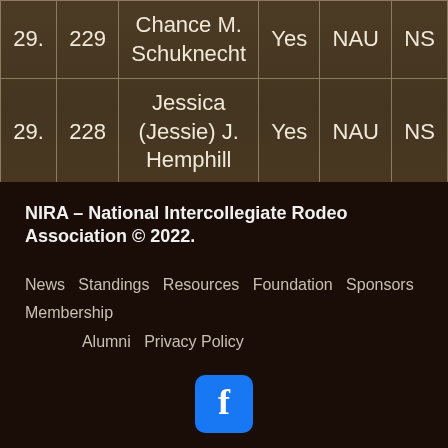| # | Score | Name | Eligible | School | Region |
| --- | --- | --- | --- | --- | --- |
| 29. | 229 | Chance M. Schuknecht | Yes | NAU | NS |
| 29. | 228 | Jessica (Jessie) J. Hemphill | Yes | NAU | NS |
NIRA – National Intercollegiate Rodeo Association © 2022.
News  Standings  Resources  Foundation  Sponsors  Membership  Alumni  Privacy Policy
[Figure (logo): Facebook logo icon — blue rounded square with white letter f]